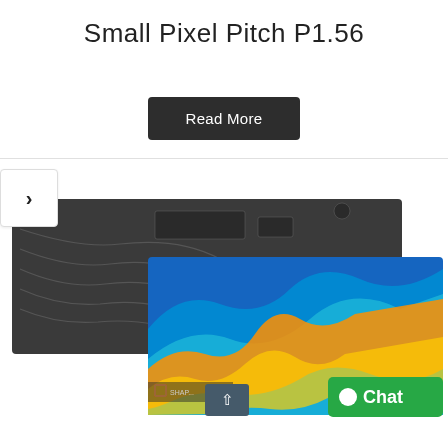Small Pixel Pitch P1.56
Read More
[Figure (photo): Product carousel showing LED display panels — one showing the back/circuit side of an LED panel in dark gray with curved circuit traces, and another showing the front display with a vibrant colorful blue/orange/yellow abstract splash image. A green Chat button and a scroll-up arrow button are visible overlaid on the image.]